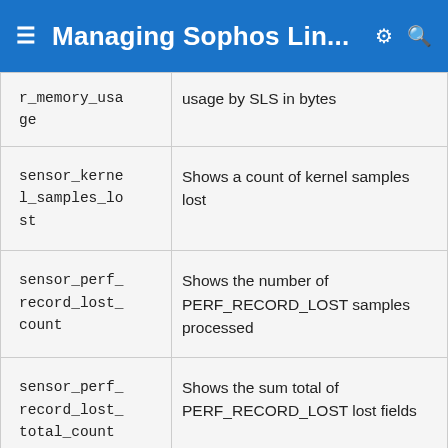Managing Sophos Lin...
| r_memory_usage | usage by SLS in bytes |
| sensor_kernel_samples_lost | Shows a count of kernel samples lost |
| sensor_perf_record_lost_count | Shows the number of PERF_RECORD_LOST samples processed |
| sensor_perf_record_lost_total_count | Shows the sum total of PERF_RECORD_LOST lost fields |
| sensor_perf_ | Shows the number of |